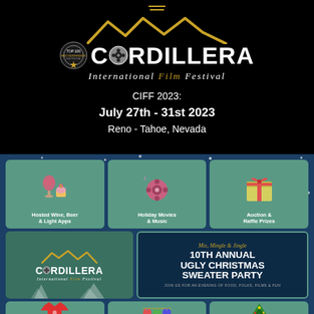[Figure (logo): Cordillera International Film Festival logo with mountain silhouette in gold and film reel in the letter O, badge on left, white text on black background]
CIFF 2023:
July 27th - 31st 2023
Reno - Tahoe, Nevada
[Figure (infographic): Holiday party event flyer on dark blue snowy background. Three teal tiles in top row: Hosted Wine, Beer & Light Apps (wine glass icon); Holiday Movies & Music (film reel icon); Auction & Raffle Prizes (gift box icon). Bottom row: Cordillera International Film Festival logo tile on left; right tile reads Mix, Mingle & Jingle / 10TH ANNUAL UGLY CHRISTMAS SWEATER PARTY / JOIN US FOR AN EVENING OF FOOD, FOLKS, FILMS & FUN. Partial bottom row of tiles with sweater, ornaments, and Christmas tree icons.]